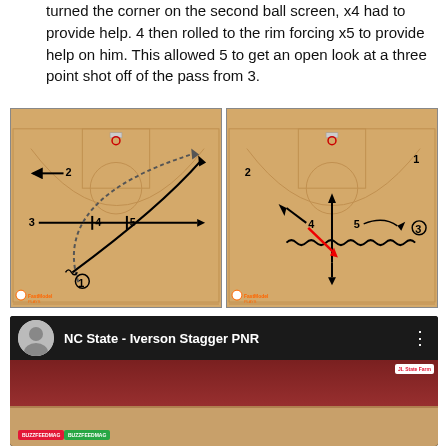turned the corner on the second ball screen, x4 had to provide help. 4 then rolled to the rim forcing x5 to provide help on him. This allowed 5 to get an open look at a three point shot off of the pass from 3.
[Figure (illustration): Two basketball court diagrams side by side labeled 'NC State - Iverson Stagger PNR'. Frame 1 shows players 1-5 with arrows indicating ball movement and screens. Frame 2 shows the result with player 3 receiving the ball for an open three-point shot.]
[Figure (screenshot): YouTube video thumbnail showing 'NC State - Iverson Stagger PNR' with a presenter avatar, video title, and basketball game footage showing the court and crowd.]